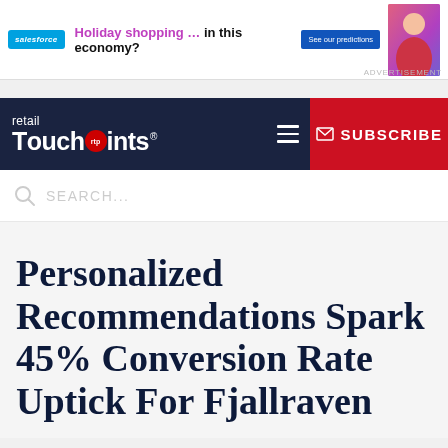[Figure (infographic): Salesforce advertisement banner: Holiday shopping ... in this economy? See our predictions. Features a woman in red dress.]
[Figure (logo): Retail TouchPoints website header with navigation: logo on dark navy background, hamburger menu icon, red SUBSCRIBE button with envelope icon, and search bar below.]
Personalized Recommendations Spark 45% Conversion Rate Uptick For Fjallraven